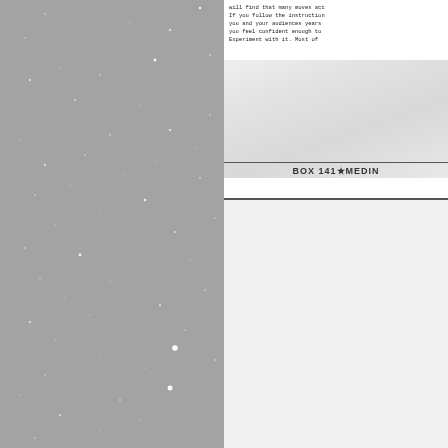[Figure (photo): Gray background starfield photo occupying the left half of the page, showing numerous small white dots/stars scattered across a gray sky.]
[Figure (photo): Scanned document page visible in the top-right area, showing typewritten text and a footer reading 'BOX 141 MEDIN...']
Uncle Owen did call Obi-War...
The Star Beam was sold und... of Medina, Ohio.
Do people still do magic thes... whose hobby was magic, and... like. Now I rarely hear about... hobby. Maybe our lives are s... superfluous. I think I like the ...
Magic played no part in Funs...